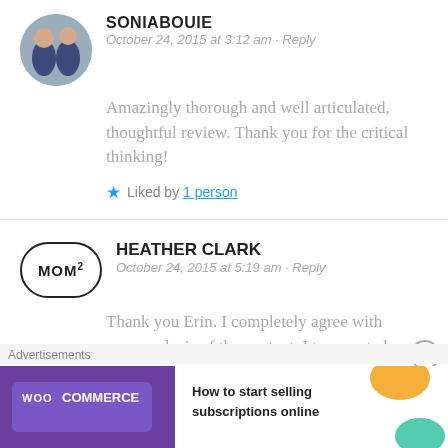[Figure (photo): Circular avatar photo of two children in matching outfits]
SONIABOUIE
October 24, 2015 at 3:12 am · Reply
Amazingly thorough and well articulated, thoughtful review. Thank you for the critical thinking!
★ Liked by 1 person
[Figure (logo): MOM squared oval bumper sticker style avatar]
HEATHER CLARK
October 24, 2015 at 5:19 am · Reply
Thank you Erin. I completely agree with your analysis of the content. I too wanted
Advertisements
[Figure (screenshot): WooCommerce advertisement banner: How to start selling subscriptions online]